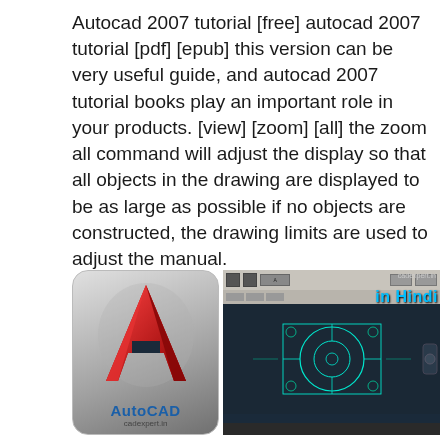Autocad 2007 tutorial [free] autocad 2007 tutorial [pdf] [epub] this version can be very useful guide, and autocad 2007 tutorial books play an important role in your products. [view] [zoom] [all] the zoom all command will adjust the display so that all objects in the drawing are displayed to be as large as possible if no objects are constructed, the drawing limits are used to adjust the manual.
[Figure (illustration): Two images side by side: left is the AutoCAD 2007 logo with a red 3D letter A on gray background with 'AutoCAD' label and 'cadexpert.in' below; right is a screenshot of AutoCAD 2007 interface showing a CAD drawing with cyan lines on dark background, toolbar at top, and 'in Hindi' text overlay with 'cadexpert.in' watermark.]